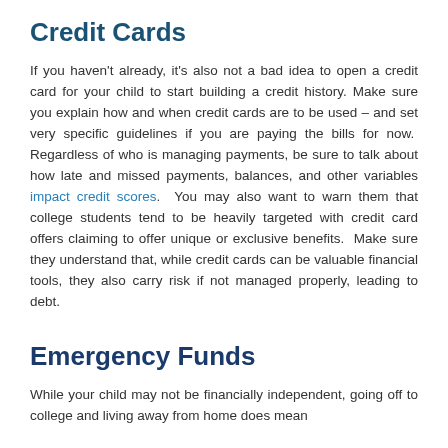Credit Cards
If you haven't already, it's also not a bad idea to open a credit card for your child to start building a credit history. Make sure you explain how and when credit cards are to be used – and set very specific guidelines if you are paying the bills for now. Regardless of who is managing payments, be sure to talk about how late and missed payments, balances, and other variables impact credit scores. You may also want to warn them that college students tend to be heavily targeted with credit card offers claiming to offer unique or exclusive benefits. Make sure they understand that, while credit cards can be valuable financial tools, they also carry risk if not managed properly, leading to debt.
Emergency Funds
While your child may not be financially independent, going off to college and living away from home does mean